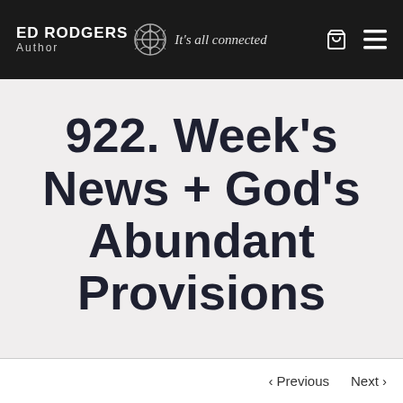ED RODGERS Author — It's all connected
922. Week's News + God's Abundant Provisions
< Previous   Next >